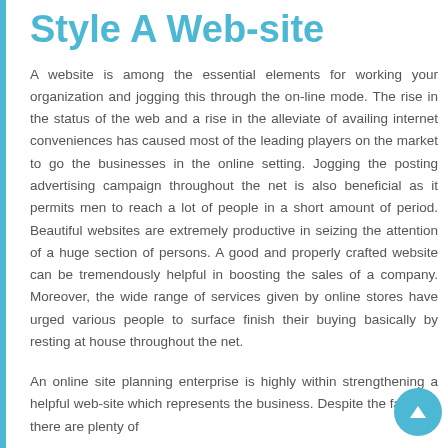Style A Web-site
A website is among the essential elements for working your organization and jogging this through the on-line mode. The rise in the status of the web and a rise in the alleviate of availing internet conveniences has caused most of the leading players on the market to go the businesses in the online setting. Jogging the posting advertising campaign throughout the net is also beneficial as it permits men to reach a lot of people in a short amount of period. Beautiful websites are extremely productive in seizing the attention of a huge section of persons. A good and properly crafted website can be tremendously helpful in boosting the sales of a company. Moreover, the wide range of services given by online stores have urged various people to surface finish their buying basically by resting at house throughout the net.
An online site planning enterprise is highly within strengthening a helpful web-site which represents the business. Despite the fact that there are plenty of